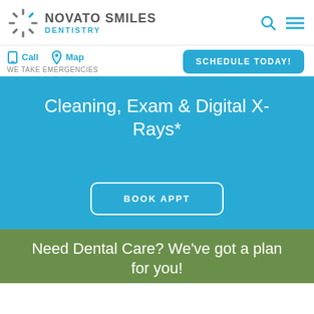[Figure (logo): Novato Smiles Dentistry logo with sunburst icon and text]
Call   Map
WE TAKE EMERGENCIES
SCHEDULE TODAY!
Cleaning, Exam & Digital X-Rays*
BOOK APPT
Need Dental Care? We've got a plan for you!